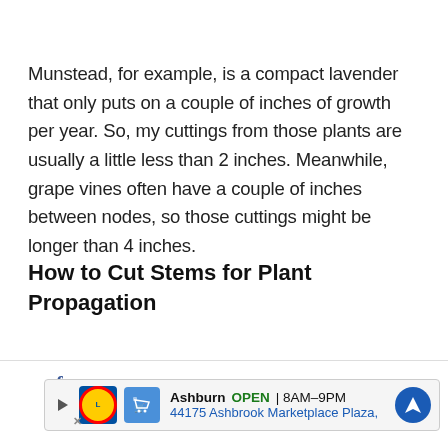Munstead, for example, is a compact lavender that only puts on a couple of inches of growth per year. So, my cuttings from those plants are usually a little less than 2 inches. Meanwhile, grape vines often have a couple of inches between nodes, so those cuttings might be longer than 4 inches.
How to Cut Stems for Plant Propagation
Now, let’s get down to the business of making new
[Figure (other): Advertisement bar: Lidl store in Ashburn, OPEN 8AM-9PM, 44175 Ashbrook Marketplace Plaza, with navigation icon]